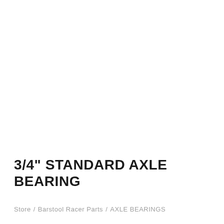3/4" STANDARD AXLE BEARING
Store / Barstool Racer Parts / AXLE BEARINGS